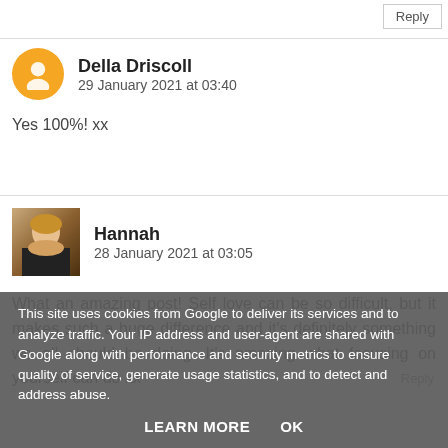Reply
Della Driscoll
29 January 2021 at 03:40
Yes 100%! xx
Hannah
28 January 2021 at 03:05
What an amazing post! Self love can be so difficult, but it makes such a huge difference and it's definitely something we all should be doing. It's amazing what focusing on yourself can do xx
This site uses cookies from Google to deliver its services and to analyze traffic. Your IP address and user-agent are shared with Google along with performance and security metrics to ensure quality of service, generate usage statistics, and to detect and address abuse.
LEARN MORE
OK
Reply